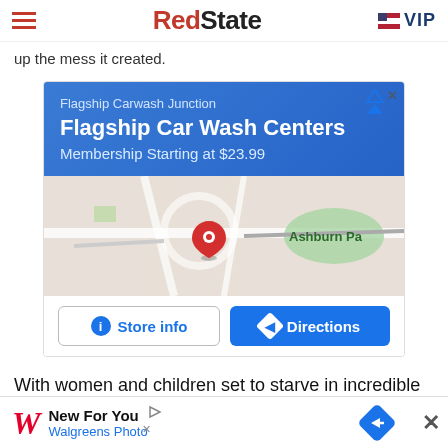RedState VIP
up the mess it created.
[Figure (other): Google Maps advertisement for Flagship Car Wash Centers showing a blue banner with text 'Flagship Carwash Junction', 'Flagship Car Wash Centers', 'Membership Starting at $23.99', a map view showing Ashburn Pa area with a red location pin, and two buttons: 'Store info' and 'Directions']
With women and children set to starve in incredible
[Figure (other): Bottom advertisement banner for Walgreens Photo showing 'New For You' text, Walgreens Photo branding in red and blue, a play/adchoices triangle icon on the left, a blue diamond directions arrow on the right, and an X close button]